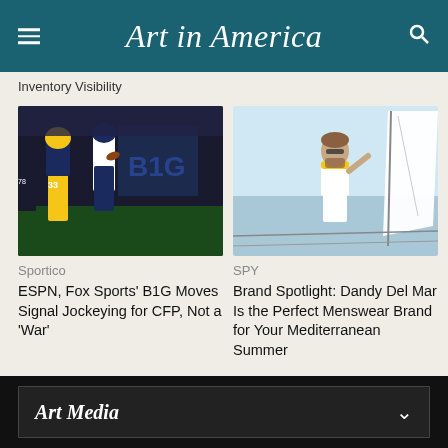Art in America
Inventory Visibility
[Figure (photo): Michigan Wolverines football players in yellow and navy uniforms running during a game, player #33 in the foreground]
Sportico
ESPN, Fox Sports' B1G Moves Signal Jockeying for CFP, Not a 'War'
[Figure (photo): Man with sunglasses and beard standing on a sailboat wearing white shorts and a white polo shirt with yellow collar detail]
SPY
Brand Spotlight: Dandy Del Mar Is the Perfect Menswear Brand for Your Mediterranean Summer
Art Media